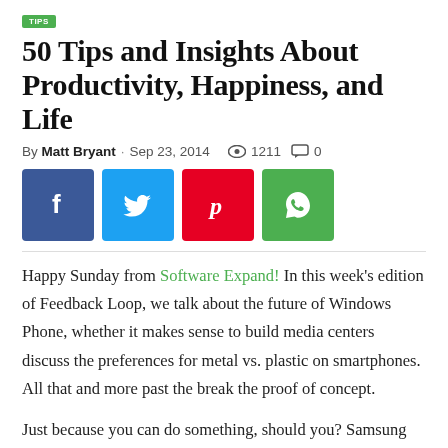50 Tips and Insights About Productivity, Happiness, and Life
By Matt Bryant · Sep 23, 2014   👁 1211   💬 0
[Figure (other): Social share buttons: Facebook (blue), Twitter (light blue), Pinterest (red), WhatsApp (green)]
Happy Sunday from Software Expand! In this week's edition of Feedback Loop, we talk about the future of Windows Phone, whether it makes sense to build media centers discuss the preferences for metal vs. plastic on smartphones. All that and more past the break the proof of concept.
Just because you can do something, should you? Samsung thinks so. Its second experimentally screened phone taps into its hardware R&D and production clout to offer something not